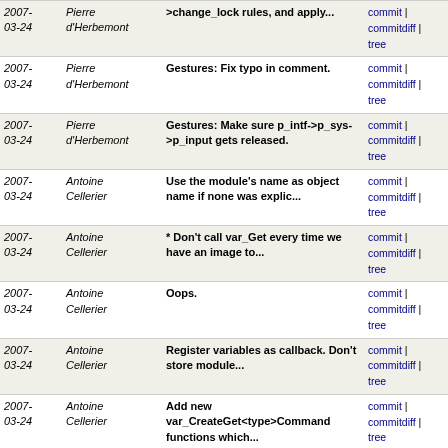| Date | Author | Message | Links |
| --- | --- | --- | --- |
| 2007-03-24 | Pierre d'Herbemont | >change_lock rules, and apply... | commit | commitdiff | tree |
| 2007-03-24 | Pierre d'Herbemont | Gestures: Fix typo in comment. | commit | commitdiff | tree |
| 2007-03-24 | Pierre d'Herbemont | Gestures: Make sure p_intf->p_sys->p_input gets released. | commit | commitdiff | tree |
| 2007-03-24 | Antoine Cellerier | Use the module's name as object name if none was explic... | commit | commitdiff | tree |
| 2007-03-24 | Antoine Cellerier | * Don't call var_Get every time we have an image to... | commit | commitdiff | tree |
| 2007-03-24 | Antoine Cellerier | Oops. | commit | commitdiff | tree |
| 2007-03-24 | Antoine Cellerier | Register variables as callback. Don't store module... | commit | commitdiff | tree |
| 2007-03-24 | Antoine Cellerier | Add new var_CreateGet<type>Command functions which... | commit | commitdiff | tree |
| 2007-03-24 | Antoine Cellerier | if we var_Create with DOINHERIT|ISCOMMAND and ISCOMMAND... | commit | commitdiff | tree |
| 2007-03-24 | Antoine Cellerier | Allow using an object's psz_object_name as id for the... | commit | commitdiff | tree |
| 2007-03-24 | Antoine Cellerier | Typo fix. | commit | commitdiff | tree |
| 2007-03-24 | Antoine Cellerier | Add news about the rc command syntax change. | commit | commitdiff | tree |
| 2007-03-24 | Antoine Cellerier | * Make it possible to give names to vlc objects (psz_ob... | commit | commitdiff | tree |